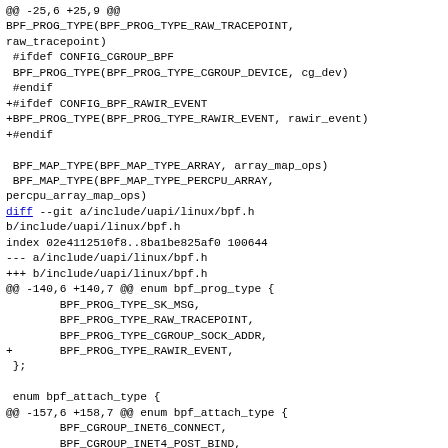@@ -25,6 +25,9 @@
BPF_PROG_TYPE(BPF_PROG_TYPE_RAW_TRACEPOINT,
raw_tracepoint)
 #ifdef CONFIG_CGROUP_BPF
 BPF_PROG_TYPE(BPF_PROG_TYPE_CGROUP_DEVICE, cg_dev)
 #endif
+#ifdef CONFIG_BPF_RAWIR_EVENT
+BPF_PROG_TYPE(BPF_PROG_TYPE_RAWIR_EVENT, rawir_event)
+#endif

 BPF_MAP_TYPE(BPF_MAP_TYPE_ARRAY, array_map_ops)
 BPF_MAP_TYPE(BPF_MAP_TYPE_PERCPU_ARRAY,
percpu_array_map_ops)
diff --git a/include/uapi/linux/bpf.h
b/include/uapi/linux/bpf.h
index 02e4112510f8..8ba1be825af0 100644
--- a/include/uapi/linux/bpf.h
+++ b/include/uapi/linux/bpf.h
@@ -140,6 +140,7 @@ enum bpf_prog_type {
		BPF_PROG_TYPE_SK_MSG,
		BPF_PROG_TYPE_RAW_TRACEPOINT,
		BPF_PROG_TYPE_CGROUP_SOCK_ADDR,
+		BPF_PROG_TYPE_RAWIR_EVENT,
 };

 enum bpf_attach_type {
@@ -157,6 +158,7 @@ enum bpf_attach_type {
		BPF_CGROUP_INET6_CONNECT,
		BPF_CGROUP_INET4_POST_BIND,
		BPF_CGROUP_INET6_POST_BIND,
+		BPF_RAWIR_EVENT,